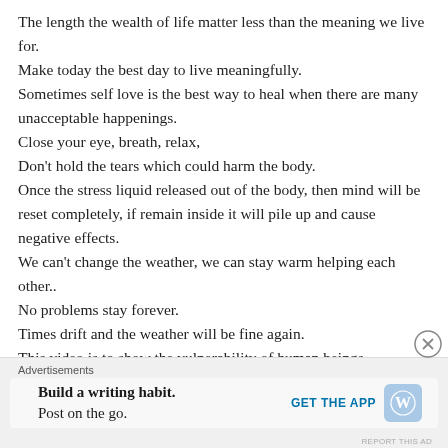The length the wealth of life matter less than the meaning we live for.
Make today the best day to live meaningfully.
Sometimes self love is the best way to heal when there are many unacceptable happenings.
Close your eye, breath, relax,
Don't hold the tears which could harm the body.
Once the stress liquid released out of the body, then mind will be reset completely, if remain inside it will pile up and cause negative effects.
We can't change the weather, we can stay warm helping each other..
No problems stay forever.
Times drift and the weather will be fine again.
This video is to show the vulnerability of human beings.
Advertisements
Build a writing habit. Post on the go.
GET THE APP